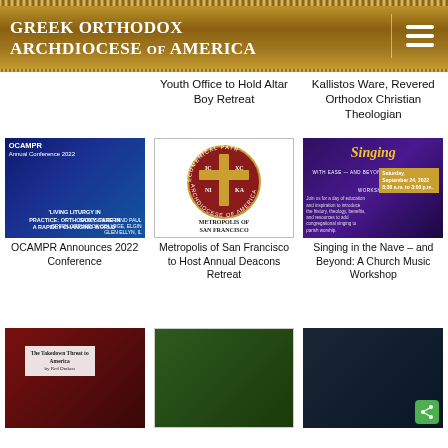Greek Orthodox Archdiocese of America
Youth Office to Hold Altar Boy Retreat
Kallistos Ware, Revered Orthodox Christian Theologian
[Figure (photo): OCAMPR Annual Conference 2022 promotional banner with blue background and Orthodox imagery]
OCAMPR Announces 2022 Conference
[Figure (logo): Metropolis of San Francisco logo with Orthodox cross and circular text reading Ecumenical Patriarchate of America]
Metropolis of San Francisco to Host Annual Deacons Retreat
[Figure (photo): Singing in the Nave workshop promotional poster with purple background]
Singing in the Nave – and Beyond: A Church Music Workshop
[Figure (photo): Preview image 1 - dark red background with church figures]
[Figure (photo): Preview image 2 - group photo with trees]
[Figure (photo): Preview image 3 - church interior with cross]